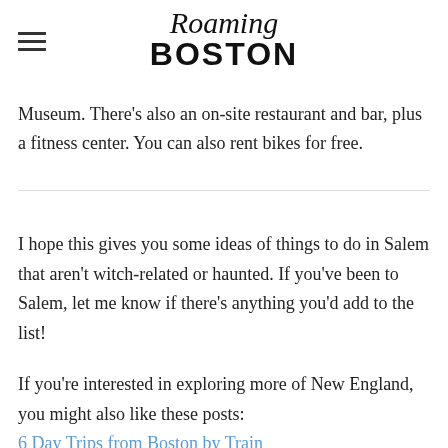Roaming Boston
Fancy ($200+) – If you want something with vintage charm, the Hawthorne Hotel is a historic brick building just steps away from the Salem Witch Museum. There's also an on-site restaurant and bar, plus a fitness center. You can also rent bikes for free.
I hope this gives you some ideas of things to do in Salem that aren't witch-related or haunted. If you've been to Salem, let me know if there's anything you'd add to the list!
If you're interested in exploring more of New England, you might also like these posts:
6 Day Trips from Boston by Train